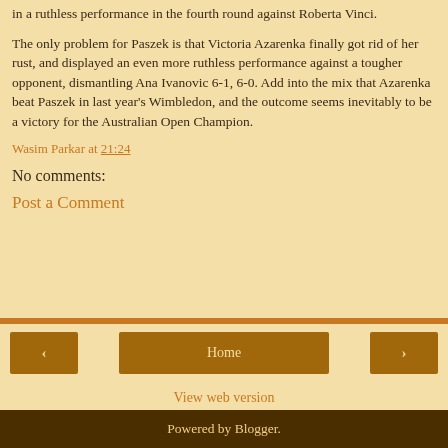in a ruthless performance in the fourth round against Roberta Vinci.
The only problem for Paszek is that Victoria Azarenka finally got rid of her rust, and displayed an even more ruthless performance against a tougher opponent, dismantling Ana Ivanovic 6-1, 6-0. Add into the mix that Azarenka beat Paszek in last year's Wimbledon, and the outcome seems inevitably to be a victory for the Australian Open Champion.
Wasim Parkar at 21:24
No comments:
Post a Comment
[Figure (other): Navigation bar with back arrow button, Home button, and forward arrow button on tan background]
View web version
Powered by Blogger.